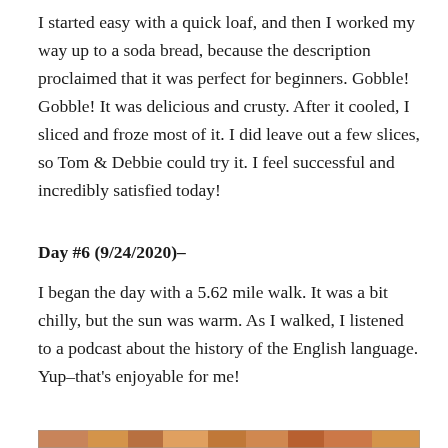I started easy with a quick loaf, and then I worked my way up to a soda bread, because the description proclaimed that it was perfect for beginners. Gobble! Gobble! It was delicious and crusty. After it cooled, I sliced and froze most of it. I did leave out a few slices, so Tom & Debbie could try it. I feel successful and incredibly satisfied today!
Day #6 (9/24/2020)–
I began the day with a 5.62 mile walk. It was a bit chilly, but the sun was warm. As I walked, I listened to a podcast about the history of the English language. Yup–that's enjoyable for me!
[Figure (photo): Partial image visible at bottom of page, appears to be a food or baking related photograph with warm brown/orange tones.]